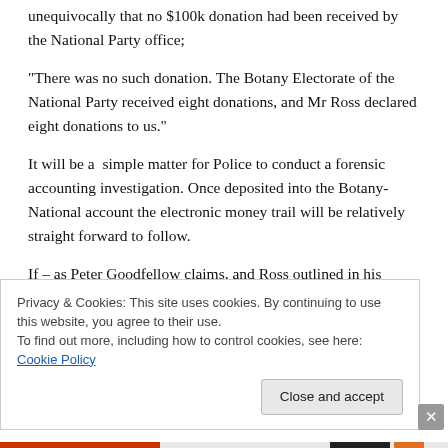unequivocally that no $100k donation had been received by the National Party office;
“There was no such donation. The Botany Electorate of the National Party received eight donations, and Mr Ross declared eight donations to us.”
It will be a simple matter for Police to conduct a forensic accounting investigation. Once deposited into the Botany-National account the electronic money trail will be relatively straight forward to follow.
If – as Peter Goodfellow claims, and Ross outlined in his
Privacy & Cookies: This site uses cookies. By continuing to use this website, you agree to their use.
To find out more, including how to control cookies, see here: Cookie Policy
Close and accept